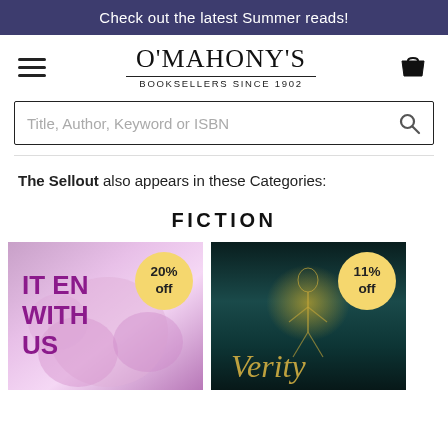Check out the latest Summer reads!
[Figure (logo): O'Mahony's Booksellers Since 1902 logo with hamburger menu and basket icon]
Title, Author, Keyword or ISBN
The Sellout also appears in these Categories:
FICTION
[Figure (photo): Book cover: It Ends With Us, pink/purple floral background, with 20% off badge]
[Figure (photo): Book cover: Verity, dark teal background with golden glowing figure, with 11% off badge]